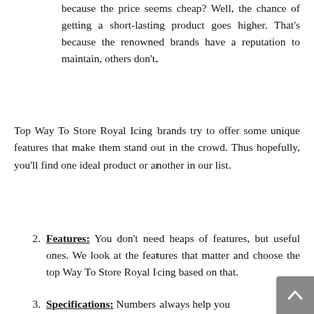because the price seems cheap? Well, the chance of getting a short-lasting product goes higher. That's because the renowned brands have a reputation to maintain, others don't.
Top Way To Store Royal Icing brands try to offer some unique features that make them stand out in the crowd. Thus hopefully, you'll find one ideal product or another in our list.
2. Features: You don't need heaps of features, but useful ones. We look at the features that matter and choose the top Way To Store Royal Icing based on that.
3. Specifications: Numbers always help you